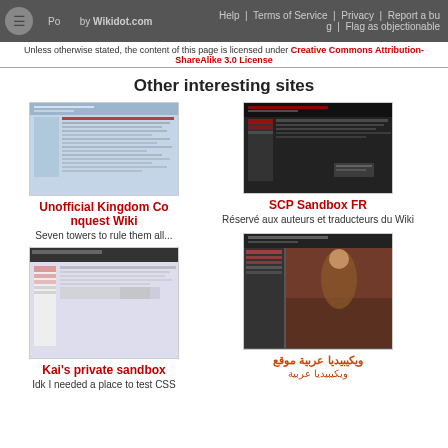Powered by Wikidot.com | Help | Terms of Service | Privacy | Report a bug | Flag as objectionable
Unless otherwise stated, the content of this page is licensed under Creative Commons Attribution-ShareAlike 3.0 License
Other interesting sites
[Figure (screenshot): Screenshot of Unofficial Kingdom Conquest Wiki website]
Unofficial Kingdom Conquest Wiki
Seven towers to rule them all...
[Figure (screenshot): Screenshot of SCP Sandbox FR website]
SCP Sandbox FR
Réservé aux auteurs et traducteurs du Wiki
[Figure (screenshot): Screenshot of Arabic language website]
ويكيبيديا عربية موقع
ويكيبيديا عربية
[Figure (screenshot): Screenshot of Kai's private sandbox website]
Kai's private sandbox
Idk I needed a place to test CSS